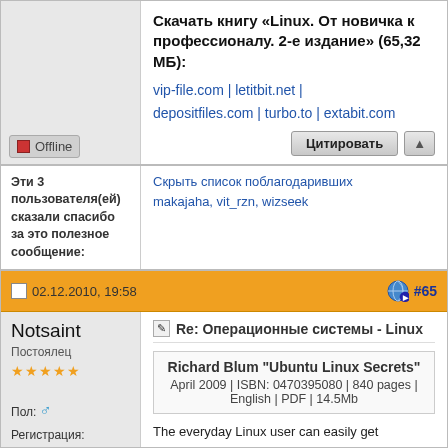Скачать книгу «Linux. От новичка к профессионалу. 2-е издание» (65,32 МБ):
vip-file.com | letitbit.net | depositfiles.com | turbo.to | extabit.com
Цитировать
Эти 3 пользователя(ей) сказали спасибо за это полезное сообщение:
Скрыть список поблагодаривших
makajaha, vit_rzn, wizseek
02.12.2010, 19:58
#65
Notsaint
Постоялец
Пол: ♂
Регистрация: 15.07.2007
Адрес: Israel
Сообщений: 569
Репутация: 649
Re: Операционные системы - Linux
Richard Blum "Ubuntu Linux Secrets"
April 2009 | ISBN: 0470395080 | 840 pages | English | PDF | 14.5Mb
The everyday Linux user can easily get overwhelmed by the complexity of the new software that exists when creating an Ubuntu system. This book covers the basics of creating a new system from scratch and explains what software is installed. You'll take a tour of installing the Ubuntu Linux distribution system in most environments, including…